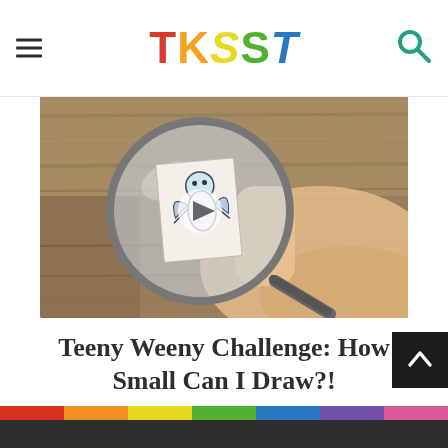TKSST
[Figure (photo): A hand holding a small piece of paper with a tiny detailed pencil drawing, viewed through a magnifying glass, against a wooden background. A play button is visible centered on the image.]
Teeny Weeny Challenge: How Small Can I Draw?!